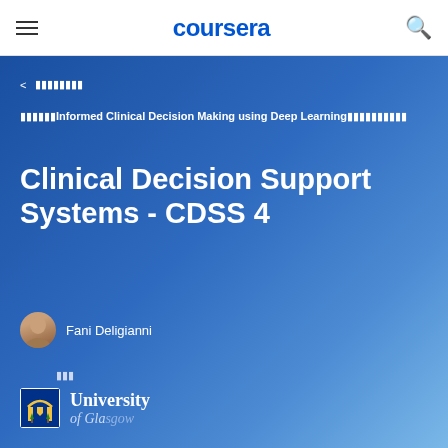coursera
< □□□□□□□□
□□□□□□Informed Clinical Decision Making using Deep Learning□□□□□□□□□□
Clinical Decision Support Systems - CDSS 4
Fani Deligianni
□□□
[Figure (logo): University of Glasgow logo and name]